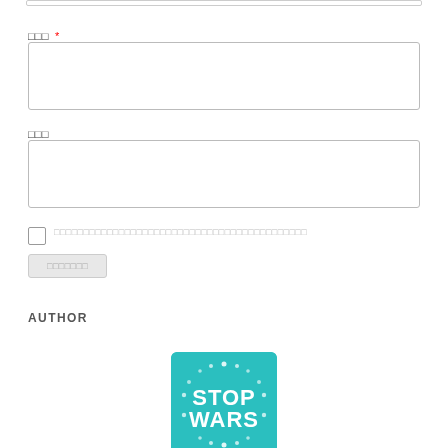□□□ *
□□□
□□□□□□□□□□□□□□□□□□□□□□□□□□□□□□□□□□□□□□□□□□□
□□□□□□□
AUTHOR
[Figure (logo): Teal/turquoise square logo with white dots arranged in a circle pattern and bold white text reading STOP WARS in a Star Wars style font]